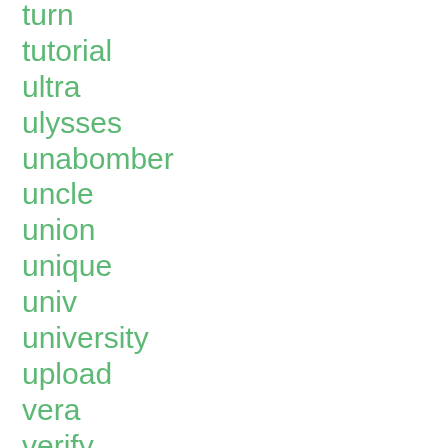turn
tutorial
ultra
ulysses
unabomber
uncle
union
unique
univ
university
upload
vera
verify
vermont
vern
very
vice